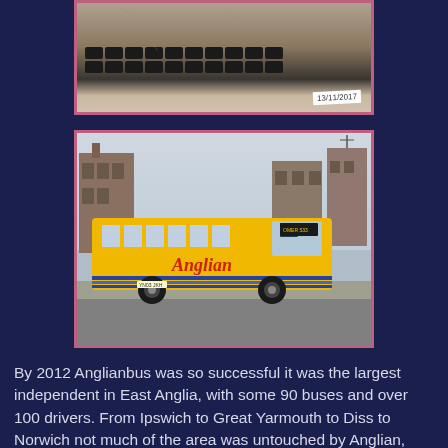[Figure (photo): Partial photo showing a keyboard and a paper with date 13/11/2017, shown with purple/pink border frame]
[Figure (photo): Photo of a yellow Anglian bus (route 533) parked on a street with brick buildings in the background, shown with purple/pink border frame]
By 2012 Anglianbus was so successful it was the largest independent in East Anglia, with some 90 buses and over 100 drivers. From Ipswich to Great Yarmouth to Diss to Norwich not much of the area was untouched by Anglian, with the huge majority of rural community routes operated by them. The company attracted interest from more than one of